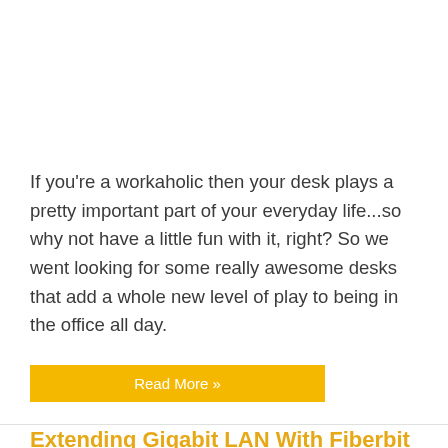If you're a workaholic then your desk plays a pretty important part of your everyday life...so why not have a little fun with it, right? So we went looking for some really awesome desks that add a whole new level of play to being in the office all day.
Read More »
Extending Gigabit LAN With Fiberbit Gigabit Fiber Media Converters